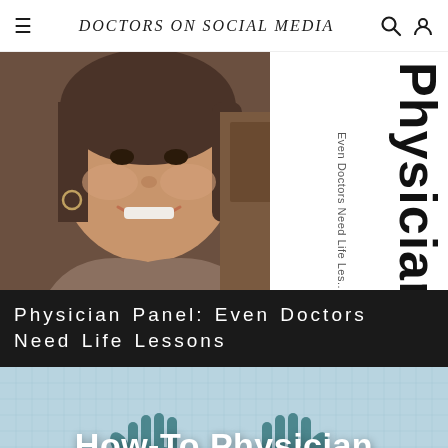Doctors on Social Media
[Figure (photo): Split image: left side shows a smiling woman doctor with hoop earrings; right side shows vertical rotated text reading 'Physician Panel: Even Doctors Need Life Lessons' on white background]
Physician Panel: Even Doctors Need Life Lessons
[Figure (photo): Light blue grid-pattern background with two gloved hands raised, overlaid with bold white text 'How-To Physician']